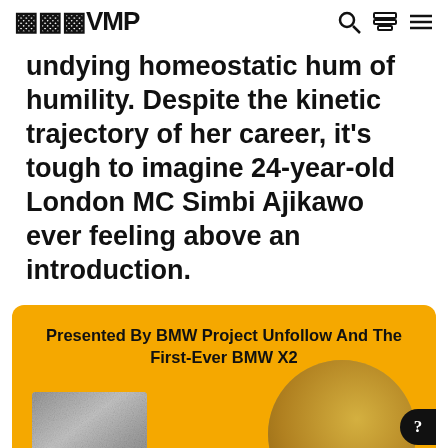VMP
undying homeostatic hum of humility. Despite the kinetic trajectory of her career, it’s tough to imagine 24-year-old London MC Simbi Ajikawo ever feeling above an introduction.
[Figure (infographic): Yellow promotional card: Presented By BMW Project Unfollow And The First-Ever BMW X2, with a grainy black-and-white image on the left and a gold vinyl record circle on the right.]
Presented By BMW Project Unfollow And The First-Ever BMW X2